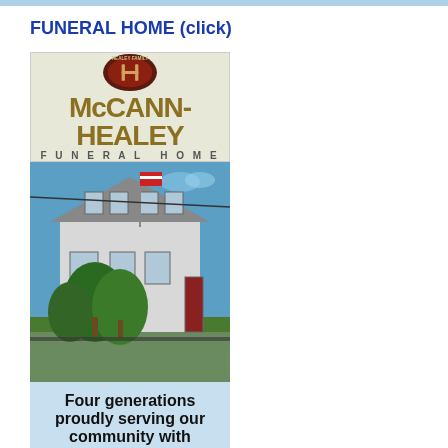FUNERAL HOME (click)
[Figure (illustration): McCann-Healey Funeral Home advertisement. Top section: beige/cream background with Healey Family oval logo (red and brown), text 'McCANN-HEALEY FUNERAL HOME' in gold/tan lettering. Middle section: photo of a large white colonial-style house with American flag, blue sky, green trees. Bottom section: light blue background with bold black text reading 'Four generations proudly serving our community with compassion, care and integrity']